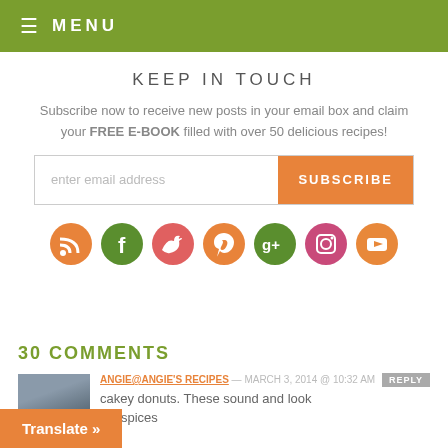≡ MENU
KEEP IN TOUCH
Subscribe now to receive new posts in your email box and claim your FREE E-BOOK filled with over 50 delicious recipes!
[Figure (infographic): Email subscription form with orange SUBSCRIBE button]
[Figure (infographic): Row of 7 social media icon circles: RSS (orange), Facebook (green), Twitter (red/pink), Pinterest (orange), Google+ (green), Instagram (pink), YouTube (orange)]
30 COMMENTS
ANGIE@ANGIE'S RECIPES — MARCH 3, 2014 @ 10:32 AM REPLY
cakey donuts. These sound and look [chai spices]